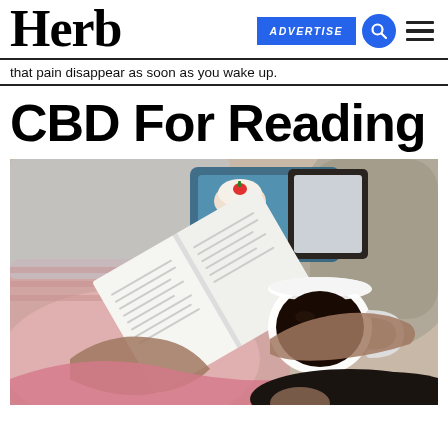Herb | ADVERTISE
that pain disappear as soon as you wake up.
CBD For Reading
[Figure (photo): Overhead view of a woman lying on a bed, holding an open book and a cup of coffee, with a tray holding a pastry and tablet in the background. She is wearing a pink robe.]